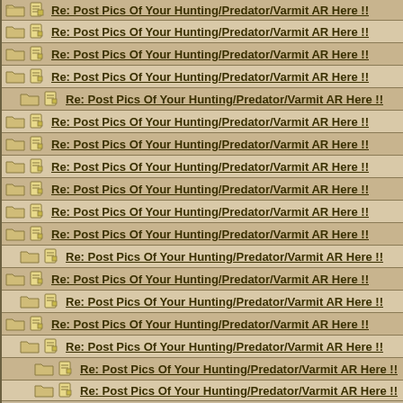Re: Post Pics Of Your Hunting/Predator/Varmit AR Here !!
Re: Post Pics Of Your Hunting/Predator/Varmit AR Here !!
Re: Post Pics Of Your Hunting/Predator/Varmit AR Here !!
Re: Post Pics Of Your Hunting/Predator/Varmit AR Here !!
Re: Post Pics Of Your Hunting/Predator/Varmit AR Here !!
Re: Post Pics Of Your Hunting/Predator/Varmit AR Here !!
Re: Post Pics Of Your Hunting/Predator/Varmit AR Here !!
Re: Post Pics Of Your Hunting/Predator/Varmit AR Here !!
Re: Post Pics Of Your Hunting/Predator/Varmit AR Here !!
Re: Post Pics Of Your Hunting/Predator/Varmit AR Here !!
Re: Post Pics Of Your Hunting/Predator/Varmit AR Here !!
Re: Post Pics Of Your Hunting/Predator/Varmit AR Here !!
Re: Post Pics Of Your Hunting/Predator/Varmit AR Here !!
Re: Post Pics Of Your Hunting/Predator/Varmit AR Here !!
Re: Post Pics Of Your Hunting/Predator/Varmit AR Here !!
Re: Post Pics Of Your Hunting/Predator/Varmit AR Here !!
Re: Post Pics Of Your Hunting/Predator/Varmit AR Here !!
Re: Post Pics Of Your Hunting/Predator/Varmit AR Here !!